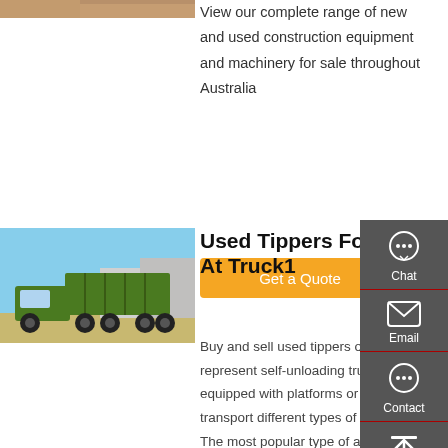[Figure (photo): Top partial image strip showing brown/tan colored surface]
View our complete range of new and used construction equipment and machinery for sale throughout Australia
Get a Quote
[Figure (photo): Green tipper/dump truck parked in a yard with buildings in the background]
Used Tippers For Sale At Truck1
Buy and sell used tippers on... Tippers represent self-unloading trucks, equipped with platforms or containers to transport different types of bulk cargo. The most popular type of a tipper